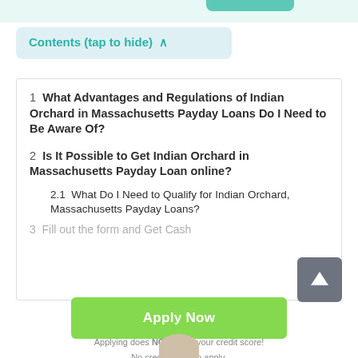Contents (tap to hide) ^
1  What Advantages and Regulations of Indian Orchard in Massachusetts Payday Loans Do I Need to Be Aware Of?
2  Is It Possible to Get Indian Orchard in Massachusetts Payday Loan online?
2.1  What Do I Need to Qualify for Indian Orchard, Massachusetts Payday Loans?
3  Fill out the form and Get Cash
Apply Now
Applying does NOT affect your credit score!
No credit check to apply.